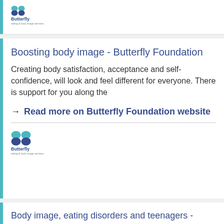[Figure (logo): Butterfly Foundation logo with teal butterfly icon and text]
Boosting body image - Butterfly Foundation
Creating body satisfaction, acceptance and self-confidence, will look and feel different for everyone. There is support for you along the
Read more on Butterfly Foundation website
[Figure (logo): Butterfly Foundation logo with teal butterfly icon and text]
Body image, eating disorders and teenagers - ReachOut Parents
Understand body image and eating disorders